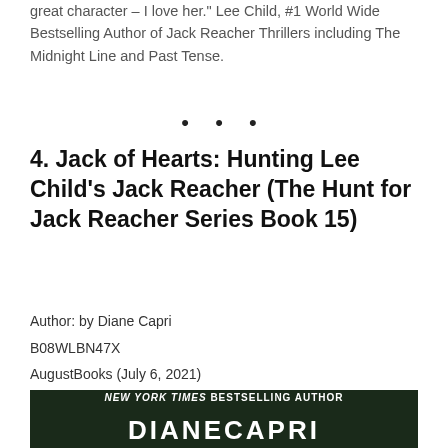great character – I love her." Lee Child, #1 World Wide Bestselling Author of Jack Reacher Thrillers including The Midnight Line and Past Tense.
• • •
4. Jack of Hearts: Hunting Lee Child's Jack Reacher (The Hunt for Jack Reacher Series Book 15)
Author: by Diane Capri
B08WLBN47X
AugustBooks (July 6, 2021)
July 6, 2021
[Figure (photo): Book cover showing 'NEW YORK TIMES BESTSELLING AUTHOR' banner at top with author name text below on a green background]